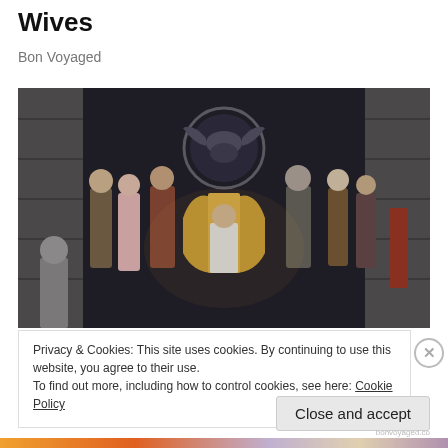Wives
Bon Voyaged
[Figure (photo): A scene from House of the Dragon / Game of Thrones showing a king seated on a throne surrounded by courtiers in medieval fantasy costumes, with a Targaryen dragon sigil banner in the background]
Privacy & Cookies: This site uses cookies. By continuing to use this website, you agree to their use.
To find out more, including how to control cookies, see here: Cookie Policy
Close and accept